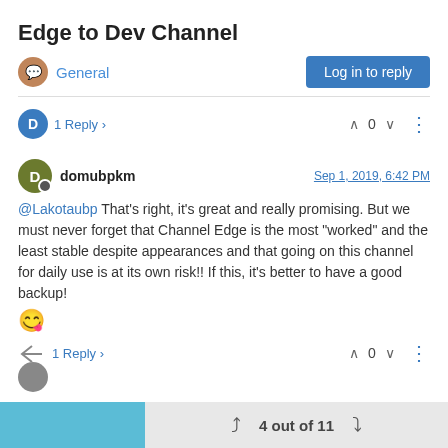Edge to Dev Channel
General   Log in to reply
D  1 Reply >   ^ 0 v  ⋮
domubpkm  Sep 1, 2019, 6:42 PM
@Lakotaubp That's right, it's great and really promising. But we must never forget that Channel Edge is the most "worked" and the least stable despite appearances and that going on this channel for daily use is at its own risk!! If this, it's better to have a good backup! 😉
1 Reply >  ^ 0 v  ⋮
4 out of 11